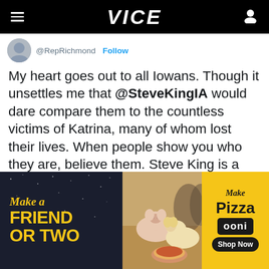VICE
@RepRichmond · Follow
My heart goes out to all Iowans. Though it unsettles me that @SteveKingIA would dare compare them to the countless victims of Katrina, many of whom lost their lives. When people show you who they are, believe them. Steve King is a white supremacist and I won't stand for it.
12:16 AM · Mar 22, 2019
♥ 826   Reply   Copy link
[Figure (photo): Advertisement banner: 'Make a Friend or Two' with a pig and dog photo in center, and 'Make Pizza ooni Shop Now' on the right]